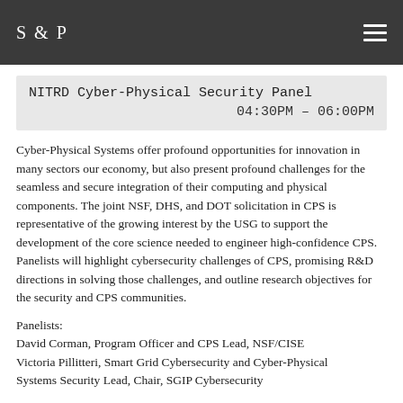S & P
NITRD Cyber-Physical Security Panel
04:30PM – 06:00PM
Cyber-Physical Systems offer profound opportunities for innovation in many sectors our economy, but also present profound challenges for the seamless and secure integration of their computing and physical components. The joint NSF, DHS, and DOT solicitation in CPS is representative of the growing interest by the USG to support the development of the core science needed to engineer high-confidence CPS. Panelists will highlight cybersecurity challenges of CPS, promising R&D directions in solving those challenges, and outline research objectives for the security and CPS communities.
Panelists:
David Corman, Program Officer and CPS Lead, NSF/CISE
Victoria Pillitteri, Smart Grid Cybersecurity and Cyber-Physical Systems Security Lead, Chair, SGIP Cybersecurity